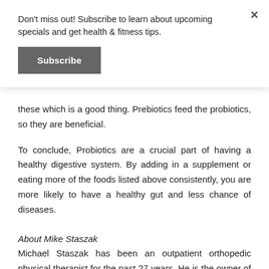Don't miss out! Subscribe to learn about upcoming specials and get health & fitness tips.
Subscribe
these which is a good thing. Prebiotics feed the probiotics, so they are beneficial.
To conclude, Probiotics are a crucial part of having a healthy digestive system. By adding in a supplement or eating more of the foods listed above consistently, you are more likely to have a healthy gut and less chance of diseases.
About Mike Staszak
Michael Staszak has been an outpatient orthopedic physical therapist for the past 27 years. He is the owner of Strong Is Physical Therapy &